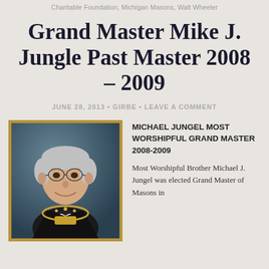Charitable Foundation, Michigan Masons, Walt Wheeler
Grand Master Mike J. Jungle Past Master 2008 – 2009
JUNE 28, 2013 • GIRBE • LEAVE A COMMENT
[Figure (photo): Portrait photo of Michael Jungel in formal Masonic regalia including chain of office, dark suit, white bow tie, against a dark teal/blue background]
MICHAEL JUNGEL MOST WORSHIPFUL GRAND MASTER 2008-2009
Most Worshipful Brother Michael J. Jungel was elected Grand Master of Masons in